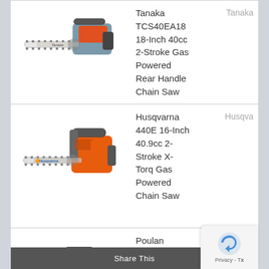[Figure (photo): Tanaka TCS40EA18 chainsaw with orange/grey body and Tanaka-branded guide bar]
Tanaka TCS40EA18 18-Inch 40cc 2-Stroke Gas Powered Rear Handle Chain Saw
Tanaka
[Figure (photo): Husqvarna 440E chainsaw with orange body and Husqvarna-branded guide bar]
Husqvarna 440E 16-Inch 40.9cc 2-Stroke X-Torq Gas Powered Chain Saw
Husqva
[Figure (photo): Partial view of a third chainsaw (Poulan Pro)]
Poulan Pro 967607201
Poulan Pro
Share This